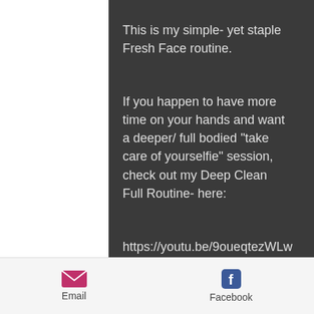This is my simple- yet staple Fresh Face routine.
If you happen to have more time on your hands and want a deeper/ full bodied "take care of yourselfie" session, check out my Deep Clean Full Routine- here:
https://youtu.be/9oueqtezWLw
And if you enjoy a more step by step description of the products, check
Email   Facebook